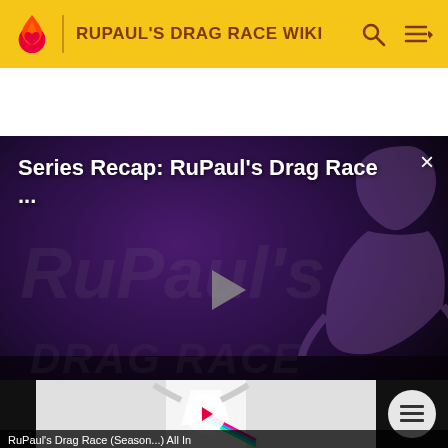RUPAUL'S DRAG RACE WIKI
[Figure (screenshot): Video player overlay showing 'Series Recap: RuPaul's Drag Race ...' with play button, RuPaul's Drag Race logo watermark, silhouette figure, close button (×), and NaN:NaN time display on dark purple/black background]
[Figure (screenshot): Video thumbnail strip showing a performer in white outfit with rainbow elements, circular white play button with pink triangle, dark sidebar areas, and a list/playlist icon button on the right]